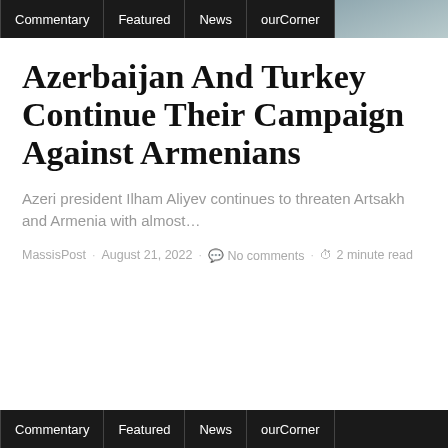Commentary | Featured | News | ourCorner
Azerbaijan And Turkey Continue Their Campaign Against Armenians
Azeri president Ilham Aliyev continues to threaten Artsakh and Armenia with almost…
MassisPost · August 21, 2022 · No comments · 2 minute read
Commentary | Featured | News | ourCorner